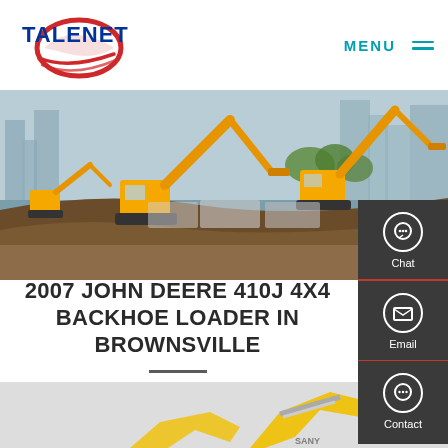TALENET | MENU
[Figure (photo): Construction site with multiple orange excavators/backhoe loaders operating on a large dirt mound with city skyline in background]
2007 JOHN DEERE 410J 4X4 BACKHOE LOADER IN BROWNSVILLE
[Figure (photo): Yellow backhoe loader equipment partially visible at bottom of page]
[Figure (infographic): Right side panel with Chat, Email, and Contact icons on dark background]